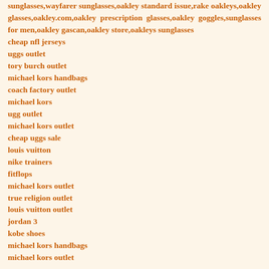sunglasses,wayfarer sunglasses,oakley standard issue,rake oakleys,oakley glasses,oakley.com,oakley prescription glasses,oakley goggles,sunglasses for men,oakley gascan,oakley store,oakleys sunglasses
cheap nfl jerseys
uggs outlet
tory burch outlet
michael kors handbags
coach factory outlet
michael kors
ugg outlet
michael kors outlet
cheap uggs sale
louis vuitton
nike trainers
fitflops
michael kors outlet
true religion outlet
louis vuitton outlet
jordan 3
kobe shoes
michael kors handbags
michael kors outlet